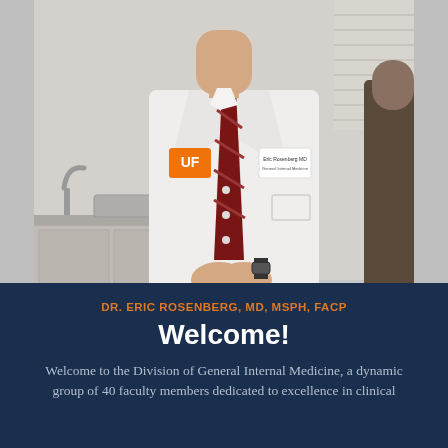[Figure (photo): A male doctor wearing a white lab coat with a UF (University of Florida) logo patch on the left breast, a dark red striped tie, and a name badge. He is standing in a medical examination room with a sink and cabinet visible in the background. His hands are clasped in front of him. Another person is partially visible on the right side.]
DR. ERIC ROSENBERG, MD, MSPH, FACP
Welcome!
Welcome to the Division of General Internal Medicine, a dynamic group of 40 faculty members dedicated to excellence in clinical